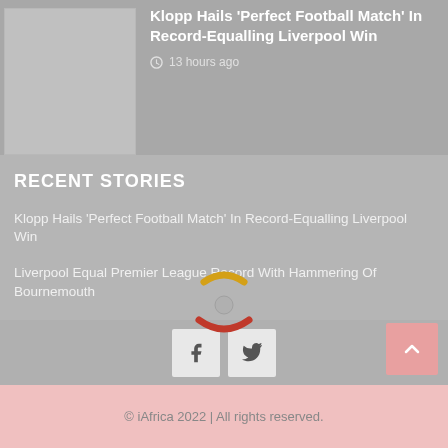Klopp Hails 'Perfect Football Match' In Record-Equalling Liverpool Win
13 hours ago
RECENT STORIES
Klopp Hails 'Perfect Football Match' In Record-Equalling Liverpool Win
Liverpool Equal Premier League Record With Hammering Of Bournemouth
Fernandes On Target As Manchester United Sink Southampton
F1 Is Not Seeing The Real Ricciardo – Horner
Alpine Confident For Piastri Contract Hearing On Monday
© iAfrica 2022 | All rights reserved.